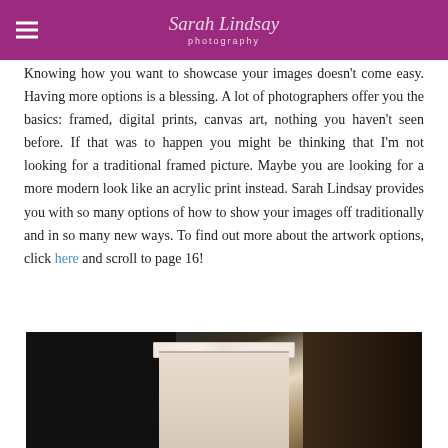Sarah Lindsay photography
Knowing how you want to showcase your images doesn't come easy. Having more options is a blessing. A lot of photographers offer you the basics: framed, digital prints, canvas art, nothing you haven't seen before. If that was to happen you might be thinking that I'm not looking for a traditional framed picture. Maybe you are looking for a more modern look like an acrylic print instead. Sarah Lindsay provides you with so many options of how to show your images off traditionally and in so many new ways. To find out more about the artwork options, click here and scroll to page 16!
[Figure (photo): Photograph of a photo book or album with pages fanned out, on a dark background with warm wood tones]